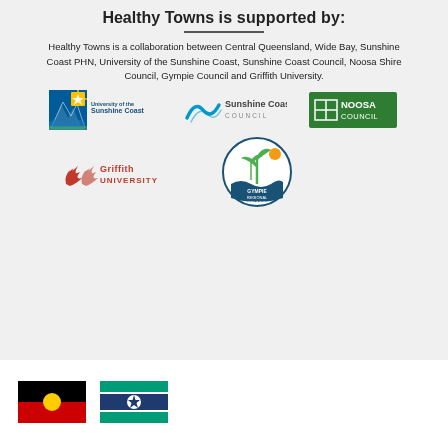Healthy Towns is supported by:
Healthy Towns is a collaboration between Central Queensland, Wide Bay, Sunshine Coast PHN, University of the Sunshine Coast, Sunshine Coast Council, Noosa Shire Council, Gympie Council and Griffith University.
[Figure (logo): University of the Sunshine Coast logo]
[Figure (logo): Sunshine Coast Council logo]
[Figure (logo): Noosa Council logo]
[Figure (logo): Griffith University logo]
[Figure (logo): Gympie Regional Council logo]
[Figure (illustration): Aboriginal flag - black top half, red bottom half, yellow circle in centre]
[Figure (illustration): Torres Strait Islander flag - green top and bottom bands, blue centre band, white lines forming star pattern with white circle]